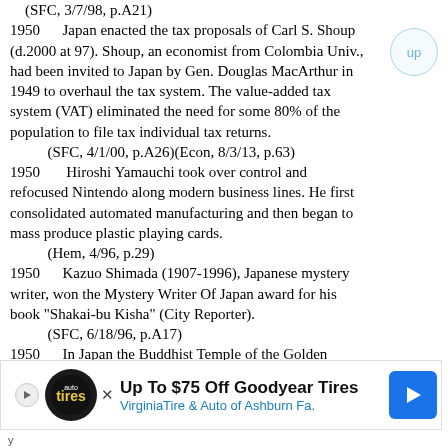(SFC, 3/7/98, p.A21)
1950      Japan enacted the tax proposals of Carl S. Shoup (d.2000 at 97). Shoup, an economist from Colombia Univ., had been invited to Japan by Gen. Douglas MacArthur in 1949 to overhaul the tax system. The value-added tax system (VAT) eliminated the need for some 80% of the population to file tax individual tax returns.
    (SFC, 4/1/00, p.A26)(Econ, 8/3/13, p.63)
1950      Hiroshi Yamauchi took over control and refocused Nintendo along modern business lines. He first consolidated automated manufacturing and then began to mass produce plastic playing cards.
    (Hem, 4/96, p.29)
1950      Kazuo Shimada (1907-1996), Japanese mystery writer, won the Mystery Writer Of Japan award for his book "Shakai-bu Kisha" (City Reporter).
    (SFC, 6/18/96, p.A17)
1950      In Japan the Buddhist Temple of the Golden Pavilion in Kyoto was burned down by a schizophrenic monk. It was rebuilt in 1955. The
[Figure (other): Advertisement banner: Up To $75 Off Goodyear Tires - VirginiaTire & Auto of Ashburn Fa.]
y